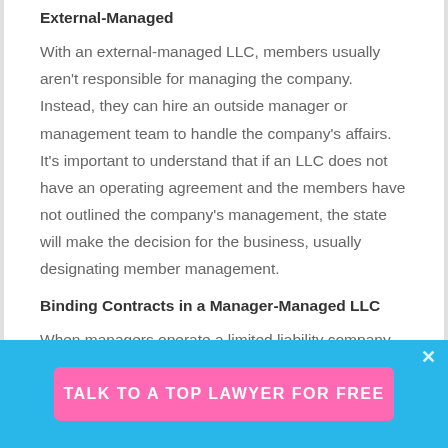External-Managed
With an external-managed LLC, members usually aren't responsible for managing the company. Instead, they can hire an outside manager or management team to handle the company's affairs. It's important to understand that if an LLC does not have an operating agreement and the members have not outlined the company's management, the state will make the decision for the business, usually designating member management.
Binding Contracts in a Manager-Managed LLC
When managers operate a limited liability company, they have the sole responsibility of binding the company into